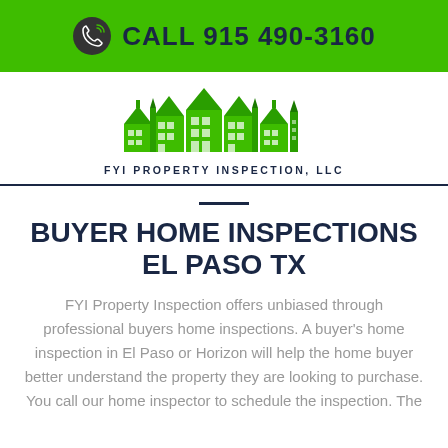CALL 915 490-3160
[Figure (logo): FYI Property Inspection LLC logo — green illustrated row of houses above text 'FYI PROPERTY INSPECTION, LLC']
BUYER HOME INSPECTIONS EL PASO TX
FYI Property Inspection offers unbiased through professional buyers home inspections. A buyer's home inspection in El Paso or Horizon will help the home buyer better understand the property they are looking to purchase. You call our home inspector to schedule the inspection. The